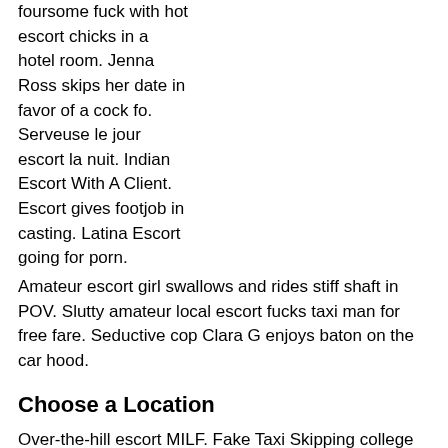foursome fuck with hot escort chicks in a hotel room. Jenna Ross skips her date in favor of a cock fo. Serveuse le jour escort la nuit. Indian Escort With A Client. Escort gives footjob in casting. Latina Escort going for porn.
Amateur escort girl swallows and rides stiff shaft in POV. Slutty amateur local escort fucks taxi man for free fare. Seductive cop Clara G enjoys baton on the car hood.
Choose a Location
Over-the-hill escort MILF. Fake Taxi Skipping college for backseat sex in taxi. Fucking Awesome - Escort Honey Gold pleases her client.